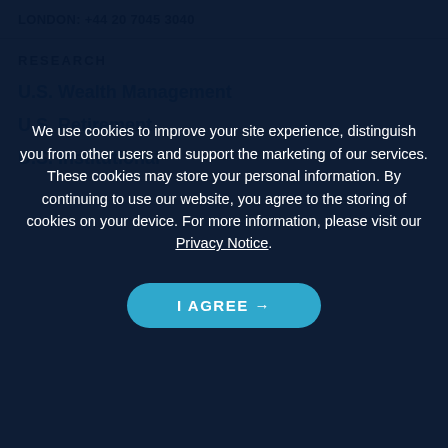LONDON: +44 20 7045 3040
RESEARCH
U.S. Wealth Management
U.S. Retirement
U.S. Institutional
We use cookies to improve your site experience, distinguish you from other users and support the marketing of our services. These cookies may store your personal information. By continuing to use our website, you agree to the storing of cookies on your device. For more information, please visit our Privacy Notice.
I AGREE →